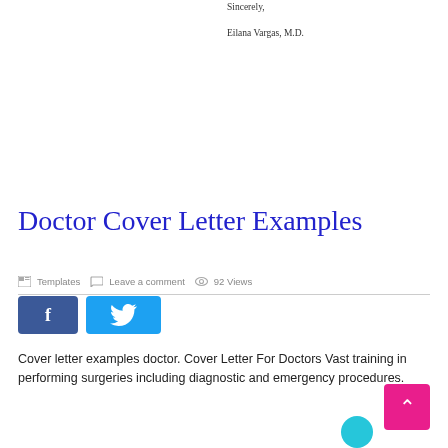Sincerely,
Eilana Vargas, M.D.
Doctor Cover Letter Examples
Templates   Leave a comment   92 Views
[Figure (other): Facebook and Twitter social share buttons]
Cover letter examples doctor. Cover Letter For Doctors Vast training in performing surgeries including diagnostic and emergency procedures.